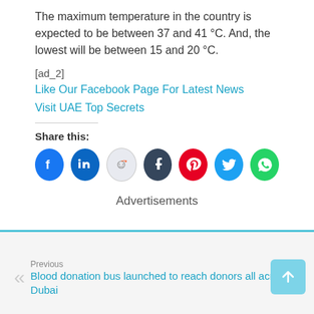The maximum temperature in the country is expected to be between 37 and 41 °C. And, the lowest will be between 15 and 20 °C.
[ad_2]
Like Our Facebook Page For Latest News
Visit UAE Top Secrets
Share this:
[Figure (infographic): Social share icons: Facebook, LinkedIn, Reddit, Tumblr, Pinterest, Twitter, WhatsApp]
Advertisements
Previous
Blood donation bus launched to reach donors all across Dubai